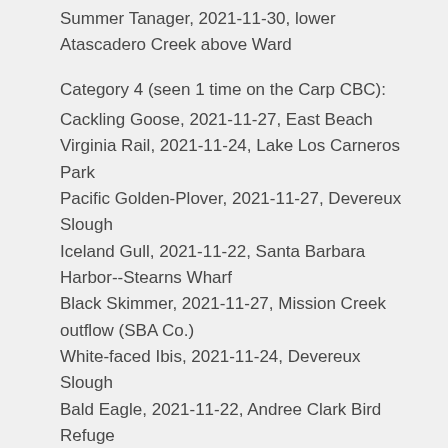Summer Tanager, 2021-11-30, lower Atascadero Creek above Ward
Category 4 (seen 1 time on the Carp CBC):
Cackling Goose, 2021-11-27, East Beach
Virginia Rail, 2021-11-24, Lake Los Carneros Park
Pacific Golden-Plover, 2021-11-27, Devereux Slough
Iceland Gull, 2021-11-22, Santa Barbara Harbor--Stearns Wharf
Black Skimmer, 2021-11-27, Mission Creek outflow (SBA Co.)
White-faced Ibis, 2021-11-24, Devereux Slough
Bald Eagle, 2021-11-22, Andree Clark Bird Refuge
Lewis's Woodpecker, 2021-11-19, Lake Los Carneros Park
Tree Swallow, 2021-11-21, West Beach
Barn Swallow, 2021-11-27, Andree Clark Bird...